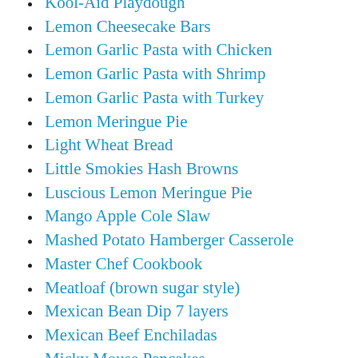Kool-Aid Playdough
Lemon Cheesecake Bars
Lemon Garlic Pasta with Chicken
Lemon Garlic Pasta with Shrimp
Lemon Garlic Pasta with Turkey
Lemon Meringue Pie
Light Wheat Bread
Little Smokies Hash Browns
Luscious Lemon Meringue Pie
Mango Apple Cole Slaw
Mashed Potato Hamberger Casserole
Master Chef Cookbook
Meatloaf (brown sugar style)
Mexican Bean Dip 7 layers
Mexican Beef Enchiladas
Micky Mouse Pancakes
Mini Donuts